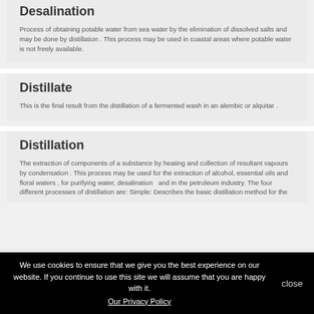Desalination
Process of obtaining potable water from sea water by the elimination of dissolved salts and may be done by distillation . This process may be used in coastal areas where potable water is not freely available.
Distillate
This is the final result from the distillation of a fermented wash in an alembic or alquitar .
Distillation
The extraction of components of a substance by heating and collection of resultant vapours by condensation . This process may be used for the extraction of alcohol, essential oils and floral waters , for purifying water, desalination  and in the petroleum industry. The four different processes of distillation are: Simple: Describes the basic distillation method for the
We use cookies to ensure that we give you the best experience on our website. If you continue to use this site we will assume that you are happy with it.
Our Privacy Policy